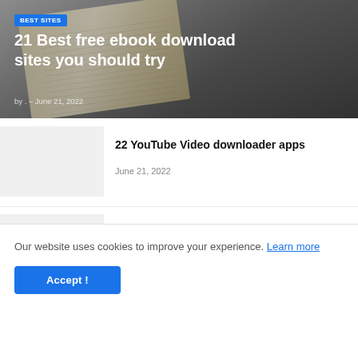[Figure (photo): Hero image of an open book on a wooden surface, overlaid with dark gradient. Contains a blue 'BEST SITES' badge, white bold title text '21 Best free ebook download sites you should try', and byline 'by . – June 21, 2022'.]
[Figure (photo): Thumbnail placeholder (light gray rectangle) for the article '22 YouTube Video downloader apps']
22 YouTube Video downloader apps
June 21, 2022
[Figure (photo): Thumbnail placeholder (light gray rectangle) for the article '27 sites for downloading pc games']
27 sites for downloading pc games
June 21, 2022
Our website uses cookies to improve your experience. Learn more
Accept !